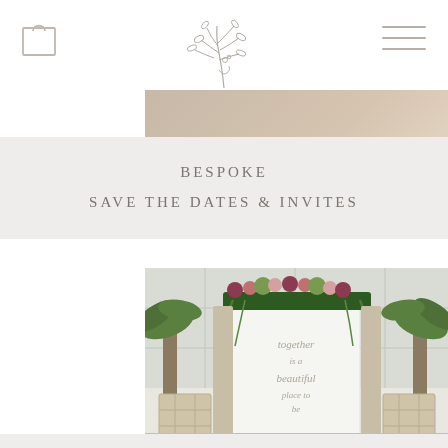[Figure (logo): Botanical leaf/branch logo centered at top of page]
[Figure (photo): Partially visible wedding photo at top, showing warm-toned fabric or floral detail]
BESPOKE SAVE THE DATES & INVITES
[Figure (photo): Wedding ceremony arch decorated with lush greenery and flowers including palm fronds, roses and trailing vines, in front of a white backdrop with calligraphy text reading 'together is a beautiful place to be', flanked by rustic wooden crates/planters]